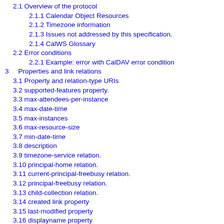2.1 Overview of the protocol
2.1.1 Calendar Object Resources
2.1.2 Timezone information
2.1.3 Issues not addressed by this specification.
2.1.4 CalWS Glossary
2.2 Error conditions
2.2.1 Example: error with CalDAV error condition
3    Properties and link relations
3.1 Property and relation-type URIs
3.2 supported-features property.
3.3 max-attendees-per-instance
3.4 max-date-time
3.5 max-instances
3.6 max-resource-size
3.7 min-date-time
3.8 description
3.9 timezone-service relation.
3.10 principal-home relation.
3.11 current-principal-freebusy relation.
3.12 principal-freebusy relation.
3.13 child-collection relation.
3.14 created link property
3.15 last-modified property
3.16 displayname property